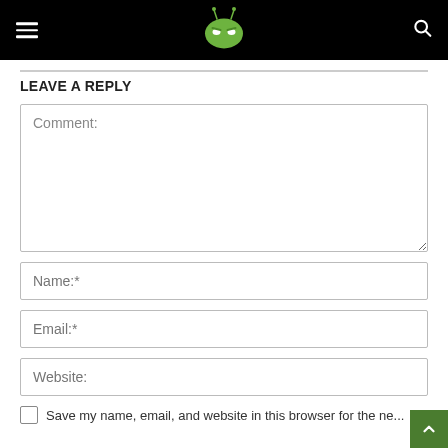[Figure (logo): Android authority logo - green angry robot mascot on black navigation bar]
LEAVE A REPLY
Comment:
Name:*
Email:*
Website:
Save my name, email, and website in this browser for the ne...